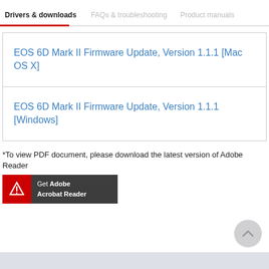Drivers & downloads   FAQs & troubleshooting   Product manuals
EOS 6D Mark II Firmware Update, Version 1.1.1 [Mac OS X]
EOS 6D Mark II Firmware Update, Version 1.1.1 [Windows]
*To view PDF document, please download the latest version of Adobe Reader
[Figure (logo): Get Adobe Acrobat Reader badge with red icon box and dark grey background]